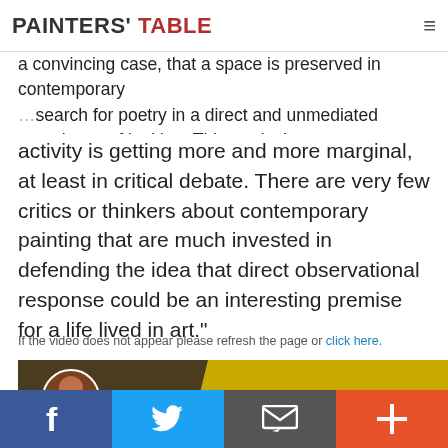PAINTERS' TABLE
a convincing case, that a space is preserved in contemporary ...ff... search for poetry in a direct and unmediated experience of looking. This particular
activity is getting more and more marginal, at least in critical debate. There are very few critics or thinkers about contemporary painting that are much invested in defending the idea that direct observational response could be an interesting premise for a life lived in art."
If the video does not appear please refresh the page or click here.
[Figure (screenshot): Video thumbnail showing a painting with yellow and brown tones, with a circular avatar of a man and text 'From Edwin Dickinson to the Perceptual Painte']
f  [Facebook]  Twitter  Email  +